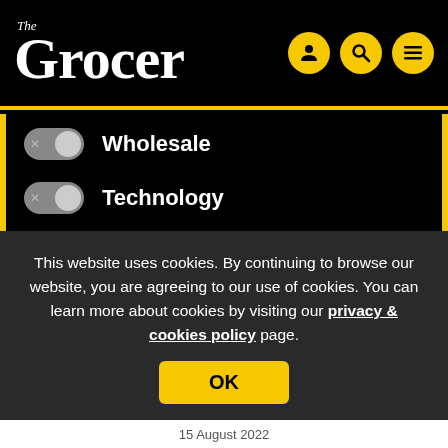The Grocer
Wholesale
Technology
Health
Sustainability and Environment
This website uses cookies. By continuing to browse our website, you are agreeing to our use of cookies. You can learn more about cookies by visiting our privacy & cookies policy page.
OK
15 August 2022